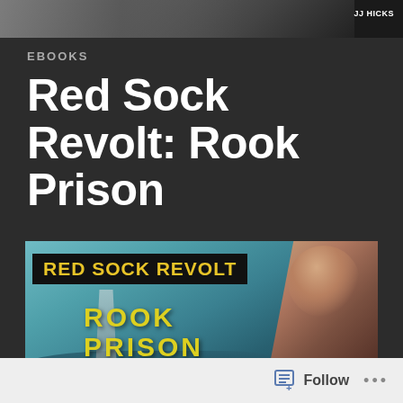[Figure (photo): Top banner with dark background and 'JJ HICKS' label in top right corner, partial image of a person and structure visible]
EBOOKS
Red Sock Revolt: Rook Prison
[Figure (illustration): Book cover for Red Sock Revolt: Rook Prison — teal/ocean background with lighthouse, 'RED SOCK REVOLT' in yellow on black banner, 'ROOK PRISON' in large yellow text, shirtless male figure on right side]
The story of the Red Sock Revolt continues in the latest instalment.
Follow ...